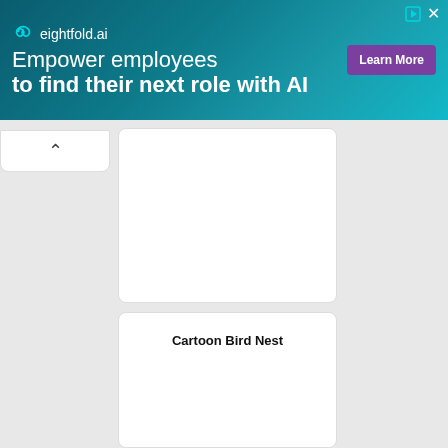[Figure (other): eightfold.ai advertisement banner with teal gradient background. Logo on left with infinity-style icon and text 'eightfold.ai'. Main text reads 'Empower employees to find their next role with AI'. Purple 'Learn More' button on right. Play and close icons in top-right corner.]
[Figure (other): Collapse/chevron up button tab in upper left below banner]
[Figure (other): White card panel (top), blank content area]
Cartoon Bird Nest
[Figure (other): White card panel (bottom) with title 'Cartoon Bird Nest' and blank content area below]